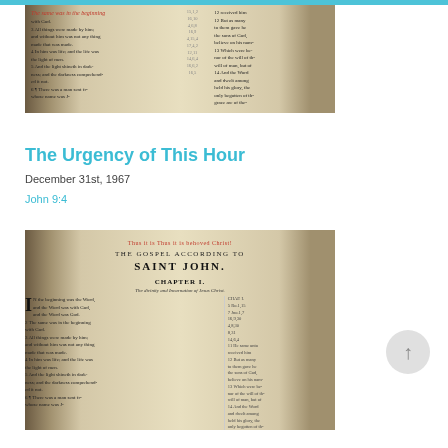[Figure (photo): Close-up photograph of an open Bible showing the beginning of John Chapter 1, with two-column text layout]
The Urgency of This Hour
December 31st, 1967
John 9:4
[Figure (photo): Close-up photograph of an open Bible showing The Gospel According to Saint John, Chapter 1, with drop capital I and two-column text layout. A scroll-up button is visible in the bottom right corner.]